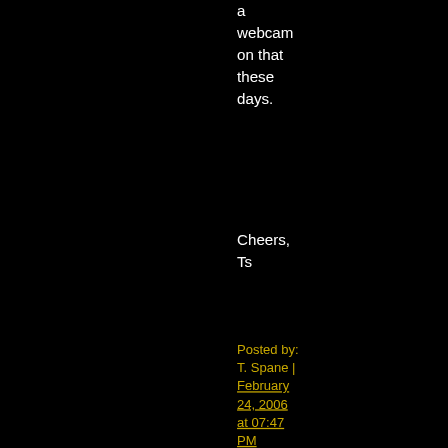a webcam on that these days.
Cheers,
Ts
Posted by: T. Spane | February 24, 2006 at 07:47 PM
[Figure (illustration): Green avatar/icon with a geometric pattern of polygons on a green background with white border]
Wow, how cool is that? I've been using Google Earth for a few